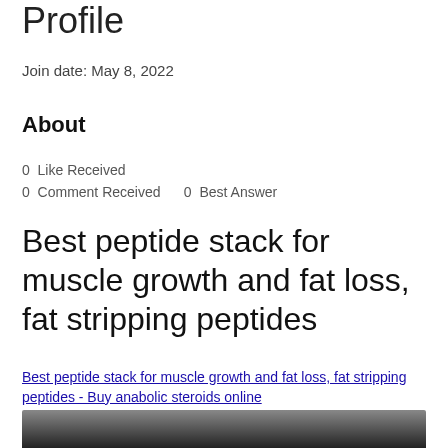Profile
Join date: May 8, 2022
About
0 Like Received
0 Comment Received   0 Best Answer
Best peptide stack for muscle growth and fat loss, fat stripping peptides
Best peptide stack for muscle growth and fat loss, fat stripping peptides - Buy anabolic steroids online
[Figure (photo): Partial dark image at the bottom of the page]